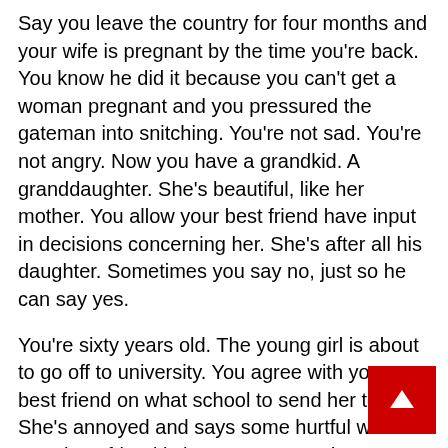Say you leave the country for four months and your wife is pregnant by the time you're back. You know he did it because you can't get a woman pregnant and you pressured the gateman into snitching. You're not sad. You're not angry. Now you have a grandkid. A granddaughter. She's beautiful, like her mother. You allow your best friend have input in decisions concerning her. She's after all his daughter. Sometimes you say no, just so he can say yes.
You're sixty years old. The young girl is about to go off to university. You agree with your best friend on what school to send her to. She's annoyed and says some hurtful words. Your best friend is hurt. You pretend not to notice and continue analyzing the just finished football match. You'll soon be gone, and he'll finally be able to father his child.
Life is not a joke...